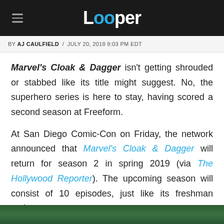Looper
BY AJ CAULFIELD / JULY 20, 2018 9:03 PM EDT
Marvel's Cloak & Dagger isn't getting shrouded or stabbed like its title might suggest. No, the superhero series is here to stay, having scored a second season at Freeform.
At San Diego Comic-Con on Friday, the network announced that Marvel's Cloak & Dagger will return for season 2 in spring 2019 (via The Hollywood Reporter). The upcoming season will consist of 10 episodes, just like its freshman outing.
[Figure (photo): Partially visible photo at bottom of page, appears to show a green-toned scene]